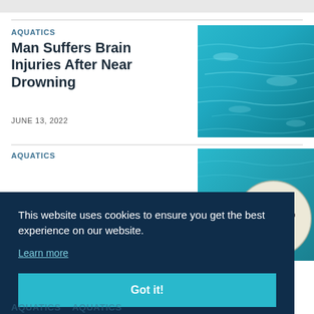AQUATICS
Man Suffers Brain Injuries After Near Drowning
JUNE 13, 2022
[Figure (photo): Blue swimming pool water surface with light reflections]
AQUATICS
[Figure (photo): Petri dish with red and dark colored circular colonies on a light background, floating on water]
This website uses cookies to ensure you get the best experience on our website.
Learn more
Got it!
AQUATICS AQUATICS